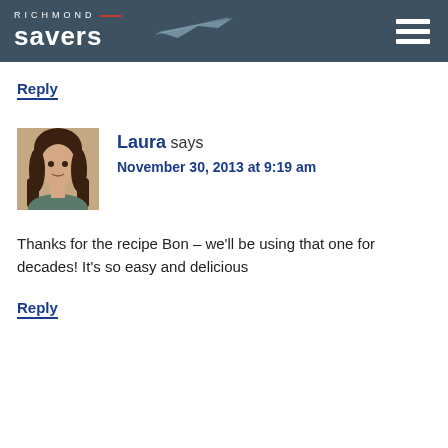RICHMOND savers
Reply
[Figure (photo): Avatar photo of Laura – a woman with dark brown hair]
Laura says
November 30, 2013 at 9:19 am
Thanks for the recipe Bon – we'll be using that one for decades! It's so easy and delicious
Reply